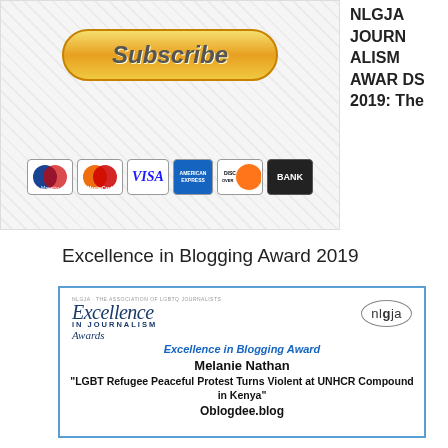[Figure (screenshot): Subscribe button with payment icons (Maestro, MasterCard, Visa, AmEx, Discover, Bank) on a light background]
NLGJA JOURNALISM AWARDS 2019: The
Excellence in Blogging Award 2019
[Figure (illustration): NLGJA Excellence in Journalism Awards certificate box showing: Excellence in Blogging Award, Melanie Nathan, "LGBT Refugee Peaceful Protest Turns Violent at UNHCR Compound in Kenya", Oblogdee.blog]